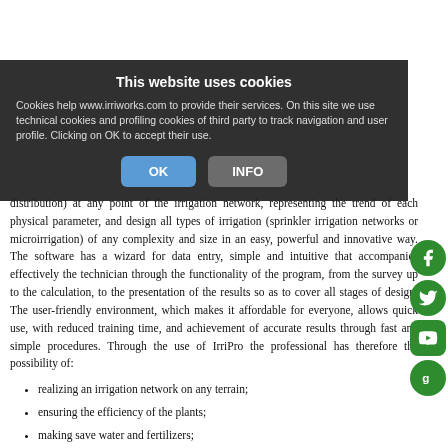and rigorous hydraulic calculation, as recognized by the international scientific and technical community. Finally, it is also considered the kinetic load. IrriPro is a design software for irrigation systems
distribution) at any point of the irrigation network, representing the trend of each physical parameter, and design all types of irrigation (sprinkler irrigation networks or microirrigation) of any complexity and size in an easy, powerful and innovative way. The software has a wizard for data entry, simple and intuitive that accompanies effectively the technician through the functionality of the program, from the survey up to the calculation, to the presentation of the results so as to cover all stages of design. The user-friendly environment, which makes it affordable for everyone, allows quick use, with reduced training time, and achievement of accurate results through fast and simple procedures. Through the use of IrriPro the professional has therefore the possibility of:
This website uses cookies
Cookies help www.irriworks.com to provide their services. On this site we use technical cookies and profiling cookies of third party to track navigation and user profile. Clicking on OK to accept their use.
realizing an irrigation network on any terrain;
ensuring the efficiency of the plants;
making save water and fertilizers;
improving the quality and quantity of production and therefore profitability of the farm;
making save approximately 5-10% on the cost of installation of the system.